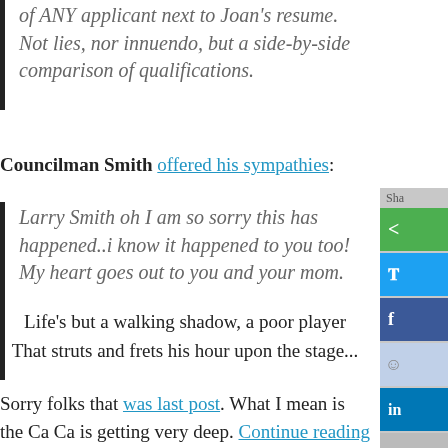of ANY applicant next to Joan's resume. Not lies, nor innuendo, but a side-by-side comparison of qualifications.
Councilman Smith offered his sympathies:
Larry Smith oh I am so sorry this has happened..i know it happened to you too! My heart goes out to you and your mom.
Life's but a walking shadow, a poor player
That struts and frets his hour upon the stage...
Sorry folks that was last post. What I mean is the Ca Ca is getting very deep. Continue reading